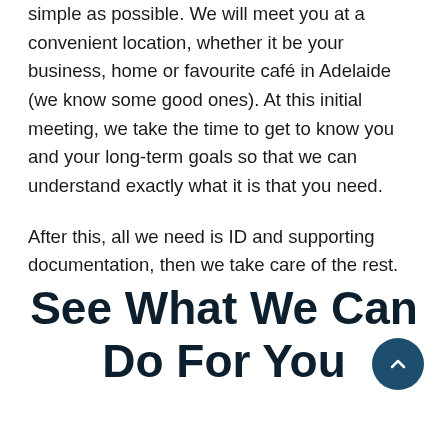simple as possible. We will meet you at a convenient location, whether it be your business, home or favourite café in Adelaide (we know some good ones). At this initial meeting, we take the time to get to know you and your long-term goals so that we can understand exactly what it is that you need.

After this, all we need is ID and supporting documentation, then we take care of the rest.
See What We Can Do For You